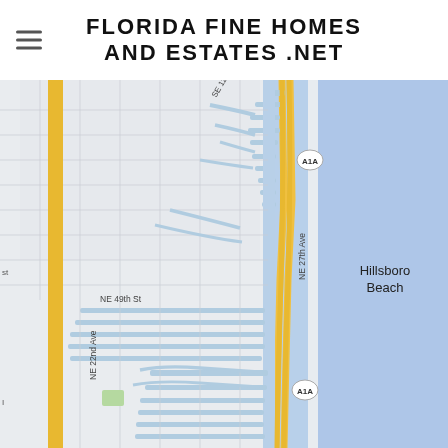FLORIDA FINE HOMES AND ESTATES .NET
[Figure (map): Google Maps view of Hillsboro Beach, Florida coastline showing street grid, waterways/canals in blue, A1A highway in yellow/orange, and the Atlantic Ocean to the right. Labels include SE 12th Ave, NE 27th Ave, NE 49th St, NE 22nd Ave, Hillsboro Beach, and A1A route markers.]